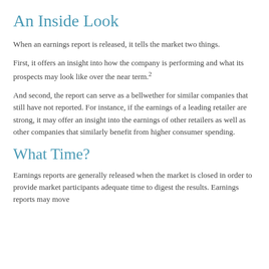An Inside Look
When an earnings report is released, it tells the market two things.
First, it offers an insight into how the company is performing and what its prospects may look like over the near term.²
And second, the report can serve as a bellwether for similar companies that still have not reported. For instance, if the earnings of a leading retailer are strong, it may offer an insight into the earnings of other retailers as well as other companies that similarly benefit from higher consumer spending.
What Time?
Earnings reports are generally released when the market is closed in order to provide market participants adequate time to digest the results. Earnings reports may move